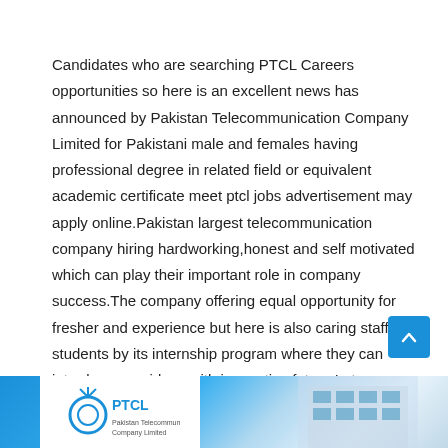Candidates who are searching PTCL Careers opportunities so here is an excellent news has announced by Pakistan Telecommunication Company Limited for Pakistani male and females having professional degree in related field or equivalent academic certificate meet ptcl jobs advertisement may apply online.Pakistan largest telecommunication company hiring hardworking,honest and self motivated which can play their important role in company success.The company offering equal opportunity for fresher and experience but here is also caring staff for students by its internship program where they can introduce new ideas with innovative future,Later on, these fresh minds will get a permanent position upon showing great results and innovative techniques.
[Figure (photo): Bottom banner image showing PTCL logo on white background on the left and a building/office exterior on the right, with blue sky background.]